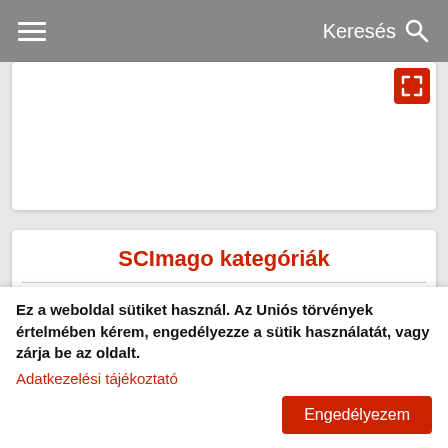Keresés
SCImago kategóriák
Chemistry (573)
Biochemistry, Genetics and Molecular Biology (259)
Materials Science (125)
Medicine (125)
Chemical Engineering (86)
Pharmacology, Toxicology and Pharmaceutics (68)
Ez a weboldal sütiket használ. Az Uniós törvények értelmében kérem, engedélyezze a sütik használatát, vagy zárja be az oldalt.
Adatkezelési tájékoztató
Engedélyezem